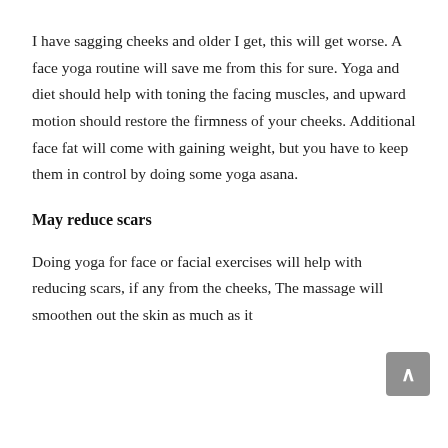I have sagging cheeks and older I get, this will get worse. A face yoga routine will save me from this for sure. Yoga and diet should help with toning the facing muscles, and upward motion should restore the firmness of your cheeks. Additional face fat will come with gaining weight, but you have to keep them in control by doing some yoga asana.
May reduce scars
Doing yoga for face or facial exercises will help with reducing scars, if any from the cheeks, The massage will smoothen out the skin as much as it